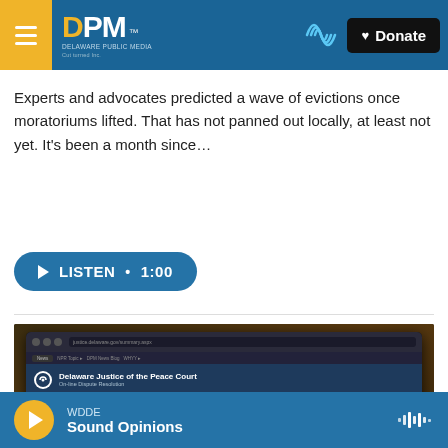DPM – Delaware Public Media | Donate
Experts and advocates predicted a wave of evictions once moratoriums lifted. That has not panned out locally, at least not yet. It's been a month since…
[Figure (other): Listen audio button showing play icon, LISTEN • 1:00]
[Figure (screenshot): Photo of a laptop screen showing the Delaware Justice of the Peace Court website]
WDDE – Sound Opinions